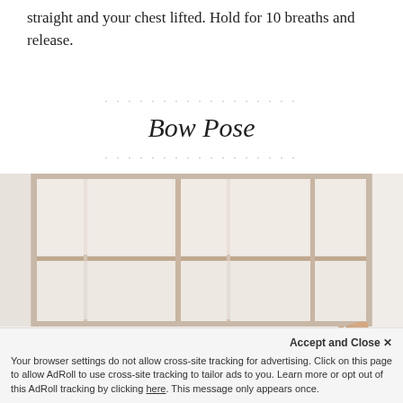straight and your chest lifted. Hold for 10 breaths and release.
Bow Pose
[Figure (photo): A person doing yoga near large windows with a bright, airy background. A hand is visible near the bottom center of the frame.]
Accept and Close ×
Your browser settings do not allow cross-site tracking for advertising. Click on this page to allow AdRoll to use cross-site tracking to tailor ads to you. Learn more or opt out of this AdRoll tracking by clicking here. This message only appears once.